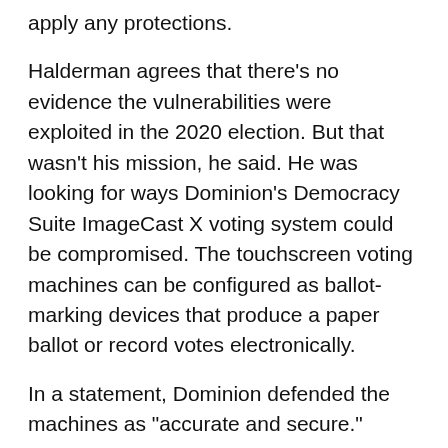apply any protections.
Halderman agrees that there’s no evidence the vulnerabilities were exploited in the 2020 election. But that wasn’t his mission, he said. He was looking for ways Dominion's Democracy Suite ImageCast X voting system could be compromised. The touchscreen voting machines can be configured as ballot-marking devices that produce a paper ballot or record votes electronically.
In a statement, Dominion defended the machines as “accurate and secure.”
Dominion’s systems have been unjustifiably maligned by people pushing the false narrative that the 2020 election was stolen from Trump. Incorrect and sometimes outrageous claims by high-profile Trump